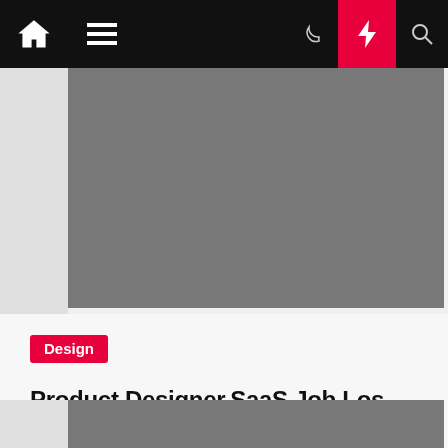Navigation bar with home, menu, dark mode, lightning, and search icons
[Figure (photo): Gray placeholder image at top of page]
Design
Product Designer,SaaS Job Los Angeles California...
Inocencia Blewett  8 months ago
[Figure (photo): Gray placeholder image at bottom of page]